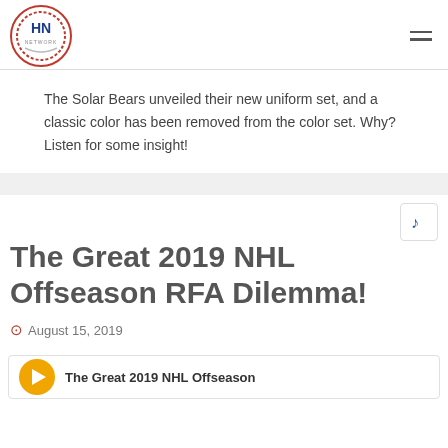HN Network logo and navigation
The Solar Bears unveiled their new uniform set, and a classic color has been removed from the color set. Why? Listen for some insight!
The Great 2019 NHL Offseason RFA Dilemma!
August 15, 2019
The Great 2019 NHL Offseason